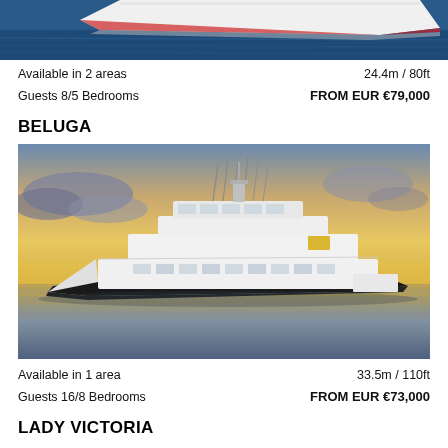[Figure (photo): Top portion of a yacht aerial/side view over blue water, partially cropped at top of page]
Available in 2 areas
Guests 8/5 Bedrooms
24.4m / 80ft
FROM EUR €79,000
BELUGA
[Figure (photo): Motor yacht named Beluga photographed at sunset on calm water with orange and yellow sky]
Available in 1 area
Guests 16/8 Bedrooms
33.5m / 110ft
FROM EUR €73,000
LADY VICTORIA